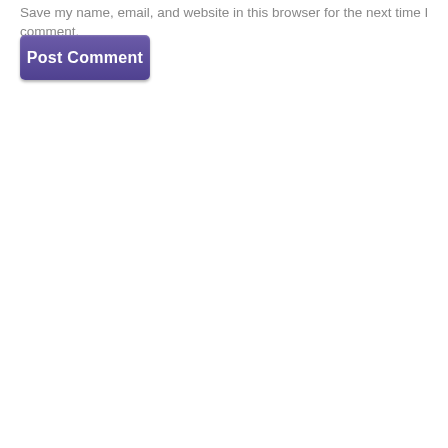Save my name, email, and website in this browser for the next time I comment.
[Figure (other): A purple 'Post Comment' button with rounded corners and white bold text]